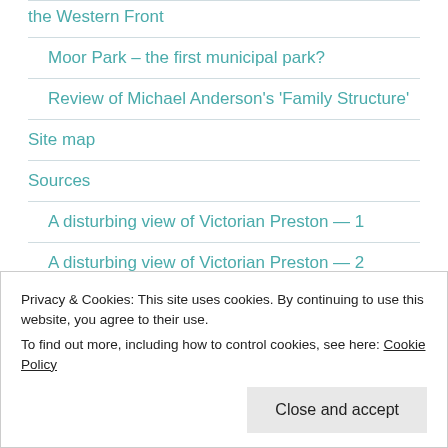the Western Front
Moor Park – the first municipal park?
Review of Michael Anderson's 'Family Structure'
Site map
Sources
A disturbing view of Victorian Preston — 1
A disturbing view of Victorian Preston — 2
Abbot John Gerard Eaves, O.S.B., 1909-1975
Privacy & Cookies: This site uses cookies. By continuing to use this website, you agree to their use.
To find out more, including how to control cookies, see here: Cookie Policy